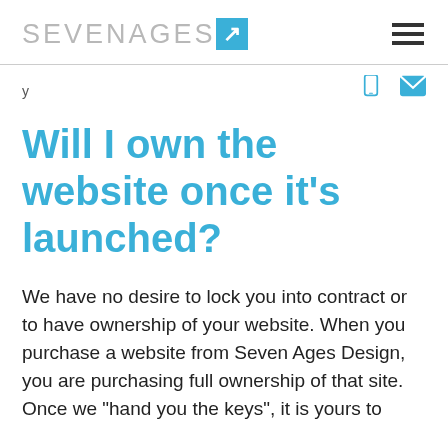SEVENAGES7 [logo] [hamburger menu]
y
Will I own the website once it's launched?
We have no desire to lock you into contract or to have ownership of your website. When you purchase a website from Seven Ages Design, you are purchasing full ownership of that site. Once we "hand you the keys", it is yours to